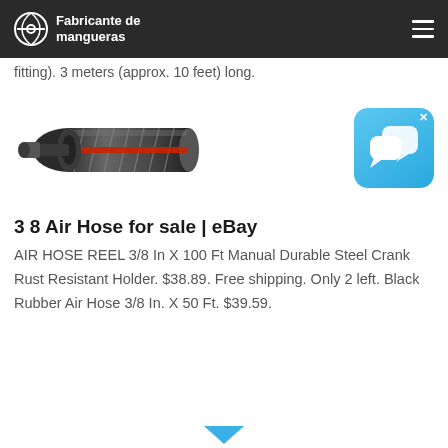Fabricante de mangueras
fitting). 3 meters (approx. 10 feet) long.
[Figure (photo): Cross-section illustration of a black rubber air hose with red stripe and steel wire reinforcement]
[Figure (screenshot): Blue chat/messaging app icon with speech bubbles and an X close button]
3 8 Air Hose for sale | eBay
AIR HOSE REEL 3/8 In X 100 Ft Manual Durable Steel Crank Rust Resistant Holder. $38.89. Free shipping. Only 2 left. Black Rubber Air Hose 3/8 In. X 50 Ft. $39.59.